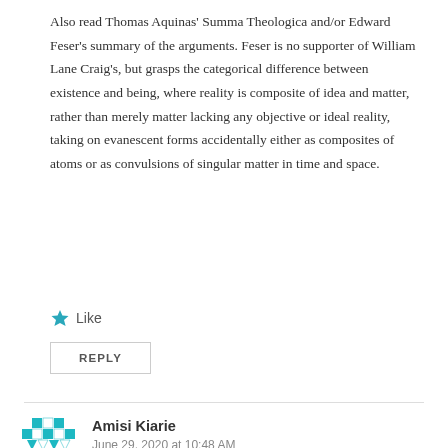Also read Thomas Aquinas' Summa Theologica and/or Edward Feser's summary of the arguments. Feser is no supporter of William Lane Craig's, but grasps the categorical difference between existence and being, where reality is composite of idea and matter, rather than merely matter lacking any objective or ideal reality, taking on evanescent forms accidentally either as composites of atoms or as convulsions of singular matter in time and space.
Like
REPLY
Amisi Kiarie
June 29, 2020 at 10:48 AM
Speaking as a Christian, I agree with the thesis of this article. The beginning of the universe (I mean, assuming